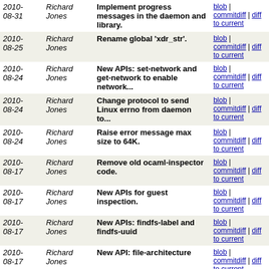| Date | Author | Message | Links |
| --- | --- | --- | --- |
| 2010-08-31 | Richard Jones | Implement progress messages in the daemon and library. | blob | commitdiff | diff to current |
| 2010-08-25 | Richard Jones | Rename global 'xdr_str'. | blob | commitdiff | diff to current |
| 2010-08-24 | Richard Jones | New APIs: set-network and get-network to enable network... | blob | commitdiff | diff to current |
| 2010-08-24 | Richard Jones | Change protocol to send Linux errno from daemon to... | blob | commitdiff | diff to current |
| 2010-08-24 | Richard Jones | Raise error message max size to 64K. | blob | commitdiff | diff to current |
| 2010-08-17 | Richard Jones | Remove old ocaml-inspector code. | blob | commitdiff | diff to current |
| 2010-08-17 | Richard Jones | New APIs for guest inspection. | blob | commitdiff | diff to current |
| 2010-08-17 | Richard Jones | New APIs: findfs-label and findfs-uuid | blob | commitdiff | diff to current |
| 2010-08-17 | Richard Jones | New API: file-architecture | blob | commitdiff | diff to current |
| 2010-08-17 | Richard Jones | generator: No need to redefine safe_* macros. | blob | commitdiff | diff to current |
| 2010-08-17 | Matthew Booth | Send trace output to stderr. | blob | commitdiff | diff to current |
| 2010-08-17 | Richard Jones | Python: Use new PyCapsule API where supported. | blob | commitdiff | diff to current |
| 2010-07-31 | Richard Jones | generator: Fix typo in error message for RConstOptString. | blob | commitdiff | diff to current |